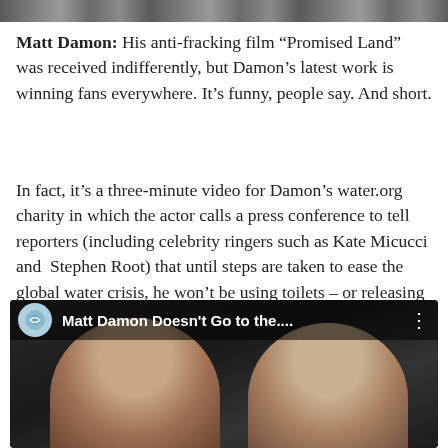[Figure (photo): Partial top cropped image strip showing what appears to be people, partially visible at the very top of the page]
Matt Damon: His anti-fracking film “Promised Land” was received indifferently, but Damon’s latest work is winning fans everywhere. It’s funny, people say. And short.
In fact, it’s a three-minute video for Damon’s water.org charity in which the actor calls a press conference to tell reporters (including celebrity ringers such as Kate Micucci and  Stephen Root) that until steps are taken to ease the global water crisis, he won’t be using toilets – or releasing waste at all. The video (above) is, in fact, very funny. And Damon is committed to getting the water.org message out, to the extent he’s guest-starring in follow-up clips with vloggers such as Shay Carl and Wheezy Waiter:
[Figure (screenshot): YouTube video thumbnail showing two men's faces side by side with the video title 'Matt Damon Doesn't Go to the...' and a YouTube-style top bar with channel icon]